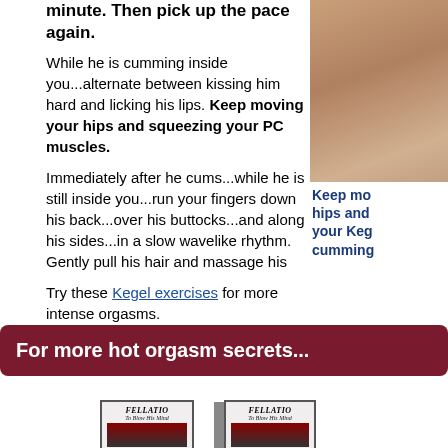minute. Then pick up the pace again.
While he is cumming inside you...alternate between kissing him hard and licking his lips. Keep moving your hips and squeezing your PC muscles.
[Figure (photo): Partial photo of a woman, cropped at right side of page]
Keep moving your hips and your Kegel muscles while he is cumming
Immediately after he cums...while he is still inside you...run your fingers down his back...over his buttocks...and along his sides...in a slow wavelike rhythm. Gently pull his hair and massage his
Try these Kegel exercises for more intense orgasms.
For more hot orgasm secrets...
[Figure (photo): Book cover: FELLATIO To Blow His Mind]
[Figure (photo): Book cover: FELLATIO To Blow His Mind (second version/angle)]